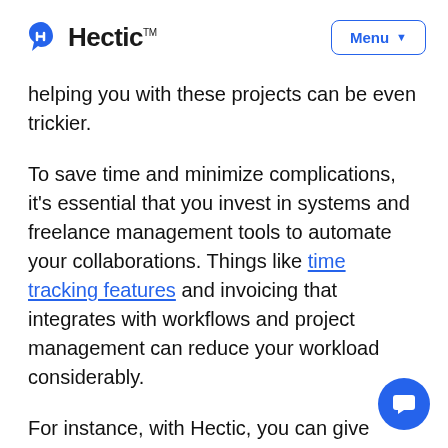Hectic™ — Menu
helping you with these projects can be even trickier.
To save time and minimize complications, it's essential that you invest in systems and freelance management tools to automate your collaborations. Things like time tracking features and invoicing that integrates with workflows and project management can reduce your workload considerably.
For instance, with Hectic, you can give freelancers controlled access to your projects within the app.